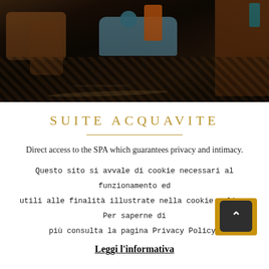[Figure (photo): Interior photo of a luxury hotel suite room with dark herringbone floor, blue sofa, wooden furniture, orange drum side table, and teal vase. Warm dark tones with ambient lighting.]
Suite Acquavite
Direct access to the SPA which guarantees privacy and intimacy.
Questo sito si avvale di cookie necessari al funzionamento ed utili alle finalità illustrate nella cookie policy. Per saperne di più consulta la pagina Privacy Policy.
Leggi l'informativa